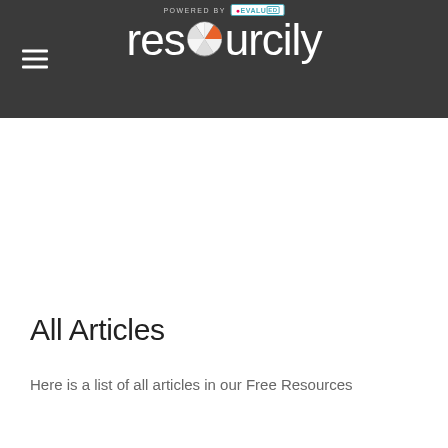resourceily — POWERED BY evaluEd
All Articles
Here is a list of all articles in our Free Resources